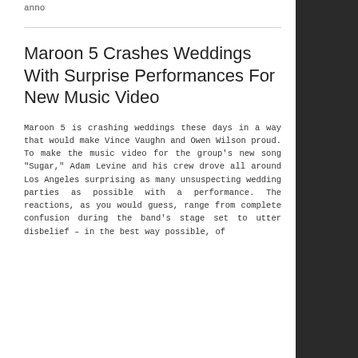anno
Maroon 5 Crashes Weddings With Surprise Performances For New Music Video
Maroon 5 is crashing weddings these days in a way that would make Vince Vaughn and Owen Wilson proud. To make the music video for the group’s new song “Sugar,” Adam Levine and his crew drove all around Los Angeles surprising as many unsuspecting wedding parties as possible with a performance. The reactions, as you would guess, range from complete confusion during the band’s stage set to utter disbelief – in the best way possible, of